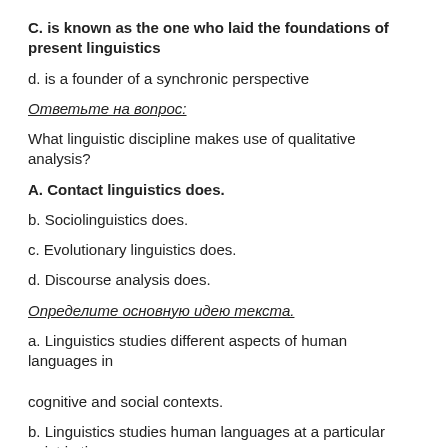C. is known as the one who laid the foundations of present linguistics
d. is a founder of a synchronic perspective
Ответьте на вопрос:
What linguistic discipline makes use of qualitative analysis?
A. Contact linguistics does.
b. Sociolinguistics does.
c. Evolutionary linguistics does.
d. Discourse analysis does.
Определите основную идею текста.
a. Linguistics studies different aspects of human languages in cognitive and social contexts.
b. Linguistics studies human languages at a particular point in time.